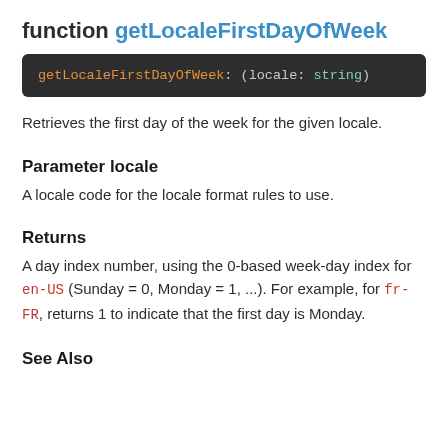function getLocaleFirstDayOfWeek
[Figure (screenshot): Code block showing: getLocaleFirstDayOfWeek: (locale: string)]
Retrieves the first day of the week for the given locale.
Parameter locale
A locale code for the locale format rules to use.
Returns
A day index number, using the 0-based week-day index for en-US (Sunday = 0, Monday = 1, ...). For example, for fr-FR, returns 1 to indicate that the first day is Monday.
See Also